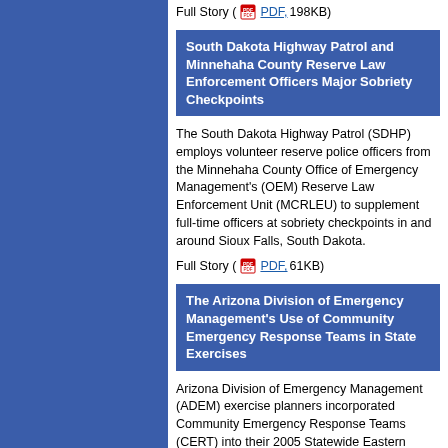Full Story ( PDF, 198KB)
South Dakota Highway Patrol and Minnehaha County Reserve Law Enforcement Officers Major Sobriety Checkpoints
The South Dakota Highway Patrol (SDHP) employs volunteer reserve police officers from the Minnehaha County Office of Emergency Management's (OEM) Reserve Law Enforcement Unit (MCRLEU) to supplement full-time officers at sobriety checkpoints in and around Sioux Falls, South Dakota.
Full Story ( PDF, 61KB)
The Arizona Division of Emergency Management's Use of Community Emergency Response Teams in State Exercises
Arizona Division of Emergency Management (ADEM) exercise planners incorporated Community Emergency Response Teams (CERT) into their 2005 Statewide Eastern Region Exercise. This exercise helped establish CERT volunteers as important components in the support of emergency responders during a major incident.